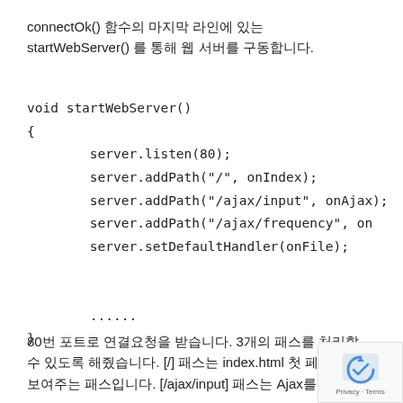connectOk() 함수의 마지막 라인에 있는 startWebServer() 를 통해 웹 서버를 구동합니다.
80번 포트로 연결요청을 받습니다. 3개의 패스를 처리할 수 있도록 해줬습니다. [/] 패스는 index.html 첫 페이지를 보여주는 패스입니다. [/ajax/input] 패스는 Ajax를 통해